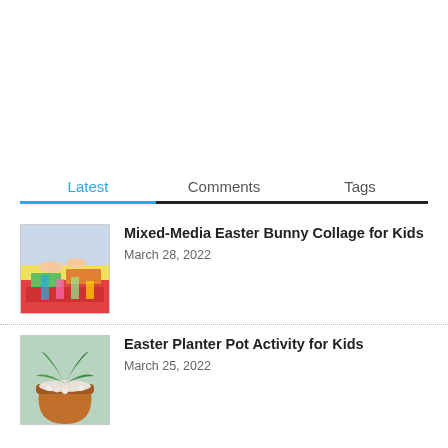Latest | Comments | Tags
[Figure (photo): Children doing arts and crafts with colorful paper]
Mixed-Media Easter Bunny Collage for Kids
March 28, 2022
[Figure (photo): Easter planter pot with plants and decorative stones]
Easter Planter Pot Activity for Kids
March 25, 2022